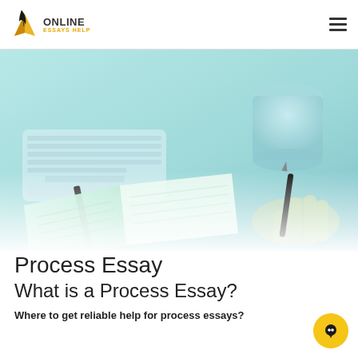ONLINE ESSAYS HELP
[Figure (photo): Person writing in an open notebook on a light blue desk with a keyboard in the background, teal-toned photo]
Process Essay
What is a Process Essay?
Where to get reliable help for process essays?